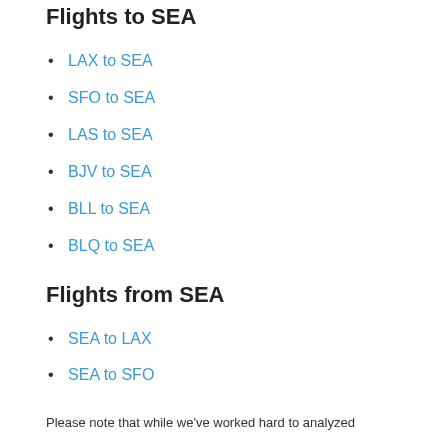Flights to SEA
LAX to SEA
SFO to SEA
LAS to SEA
BJV to SEA
BLL to SEA
BLQ to SEA
Flights from SEA
SEA to LAX
SEA to SFO
SEA to LAS
SEA to CDG
SEA to ALC
SEA to DRW
Please note that while we've worked hard to analyzed